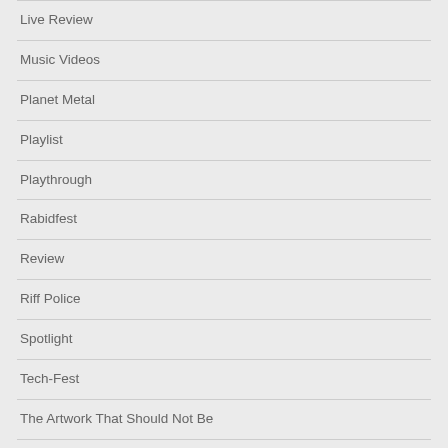Live Review
Music Videos
Planet Metal
Playlist
Playthrough
Rabidfest
Review
Riff Police
Spotlight
Tech-Fest
The Artwork That Should Not Be
The Black M…